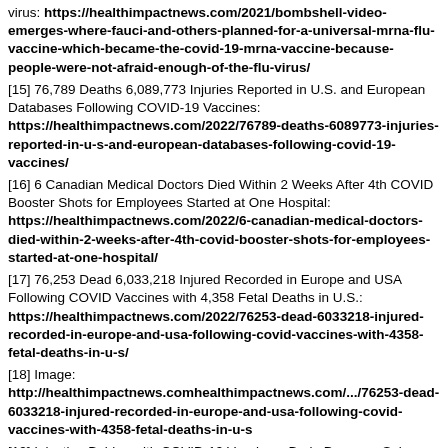virus: https://healthimpactnews.com/2021/bombshell-video-emerges-where-fauci-and-others-planned-for-a-universal-mrna-flu-vaccine-which-became-the-covid-19-mrna-vaccine-because-people-were-not-afraid-enough-of-the-flu-virus/
[15] 76,789 Deaths 6,089,773 Injuries Reported in U.S. and European Databases Following COVID-19 Vaccines: https://healthimpactnews.com/2022/76789-deaths-6089773-injuries-reported-in-u-s-and-european-databases-following-covid-19-vaccines/
[16] 6 Canadian Medical Doctors Died Within 2 Weeks After 4th COVID Booster Shots for Employees Started at One Hospital: https://healthimpactnews.com/2022/6-canadian-medical-doctors-died-within-2-weeks-after-4th-covid-booster-shots-for-employees-started-at-one-hospital/
[17] 76,253 Dead 6,033,218 Injured Recorded in Europe and USA Following COVID Vaccines with 4,358 Fetal Deaths in U.S.: https://healthimpactnews.com/2022/76253-dead-6033218-injured-recorded-in-europe-and-usa-following-covid-vaccines-with-4358-fetal-deaths-in-u-s/
[18] Image: http://healthimpactnews.comhealthimpactnews.com/.../76253-dead-6033218-injured-recorded-in-europe-and-usa-following-covid-vaccines-with-4358-fetal-deaths-in-u-s
[19] Injecting Babies with COVID-19 Vaccines: Brain Damage, Seizures, Rashes are Recorded Side Effects in VAERS: https://healthimpactnews.com/2022/injecting-babies-with-covid-19-vaccines-brain-damage-seizures-rashes-recorded-side-effects-in-vaers/